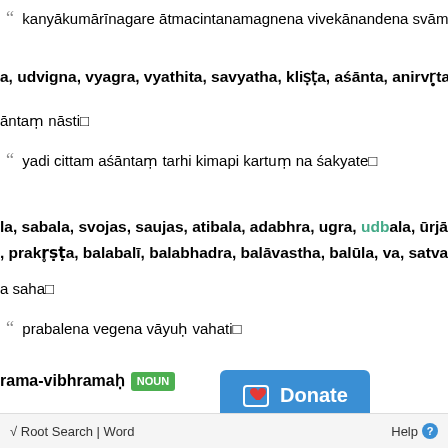“ kanyākumārīnagare ātmacintanamagnena vivekānandena svāminā ā...
a, udvigna, vyagra, vyathita, savyatha, kliṣṭa, aśānta, anirvr̥ta, vidhu...
āntaṃ nāsti□
“ yadi cittam aśāntaṃ tarhi kimapi kartuṃ na śakyate□
la, sabala, svojas, saujas, atibala, adabhra, ugra, udbala, ūrjāvata, ū...
, prakr̥ṣṭa, balabalī, balabhadra, balāvastha, balūla, va, satvan, sthā...
a saha□
“ prabalena vegena vāyuḥ vahati□
rama-vibhramaḥ NOUN
amasya vibhramasya ca kriyā□
√ Root Search | Word   Help